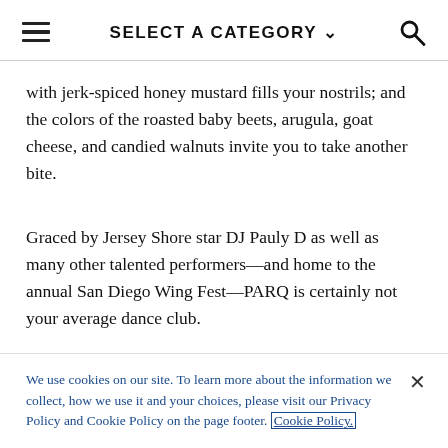SELECT A CATEGORY
with jerk-spiced honey mustard fills your nostrils; and the colors of the roasted baby beets, arugula, goat cheese, and candied walnuts invite you to take another bite.
Graced by Jersey Shore star DJ Pauly D as well as many other talented performers—and home to the annual San Diego Wing Fest—PARQ is certainly not your average dance club.
We use cookies on our site. To learn more about the information we collect, how we use it and your choices, please visit our Privacy Policy and Cookie Policy on the page footer. Cookie Policy.